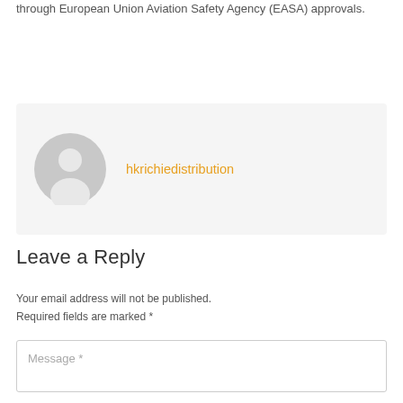through European Union Aviation Safety Agency (EASA) approvals.
[Figure (other): User comment card with avatar (grey silhouette) and username hkrichiedistribution in orange]
Leave a Reply
Your email address will not be published. Required fields are marked *
Message *